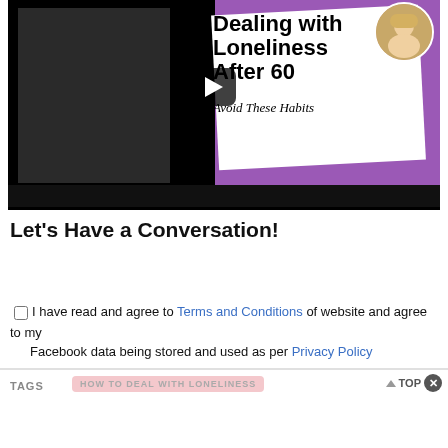[Figure (screenshot): Video thumbnail for 'Dealing with Loneliness After 60 - Avoid These Habits' with a woman drinking coffee on left, purple background with white card on right showing title text, circular avatar of blonde woman in top right, YouTube-style play button in center, black progress bar at bottom.]
Let's Have a Conversation!
I have read and agree to Terms and Conditions of website and agree to my Facebook data being stored and used as per Privacy Policy
TAGS   HOW TO DEAL WITH LONELINESS